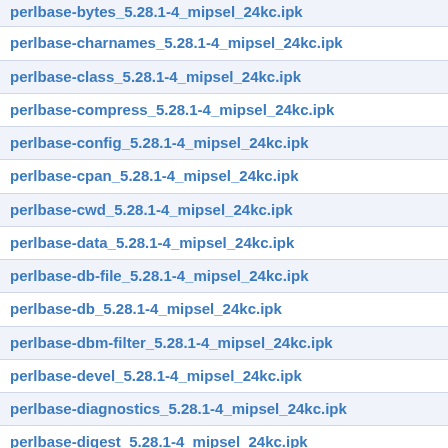perlbase-bytes_5.28.1-4_mipsel_24kc.ipk
perlbase-charnames_5.28.1-4_mipsel_24kc.ipk
perlbase-class_5.28.1-4_mipsel_24kc.ipk
perlbase-compress_5.28.1-4_mipsel_24kc.ipk
perlbase-config_5.28.1-4_mipsel_24kc.ipk
perlbase-cpan_5.28.1-4_mipsel_24kc.ipk
perlbase-cwd_5.28.1-4_mipsel_24kc.ipk
perlbase-data_5.28.1-4_mipsel_24kc.ipk
perlbase-db-file_5.28.1-4_mipsel_24kc.ipk
perlbase-db_5.28.1-4_mipsel_24kc.ipk
perlbase-dbm-filter_5.28.1-4_mipsel_24kc.ipk
perlbase-devel_5.28.1-4_mipsel_24kc.ipk
perlbase-diagnostics_5.28.1-4_mipsel_24kc.ipk
perlbase-digest_5.28.1-4_mipsel_24kc.ipk
perlbase-dirhandle_5.28.1-4_mipsel_24kc.ipk
perlbase-dumpvalue_5.28.1-4_mipsel_24kc.ipk
perlbase-dumpvar_5.28.1-4_mipsel_24kc.ipk
perlbase-dynaloader_5.28.1-4_mipsel_24kc.ipk
perlbase-encode_5.28.1-4_mipsel_24kc.ipk
perlbase-encoding_5.28.1-4_mipsel_24kc.ipk